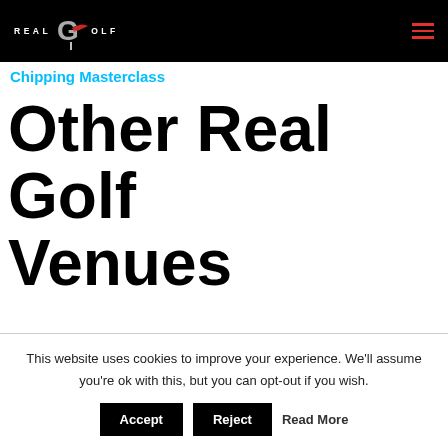REAL GOLF
Chipping Masterclass
Other Real Golf Venues
This website uses cookies to improve your experience. We'll assume you're ok with this, but you can opt-out if you wish.
Accept  Reject  Read More